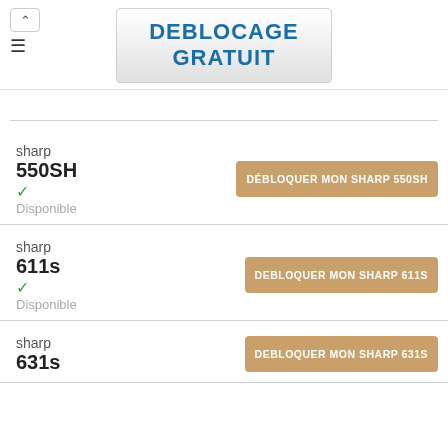DEBLOCAGE GRATUIT
sharp 550SH — Disponible — DÉBLOQUER MON SHARP 550SH
sharp 611s — Disponible — DEBLOQUER MON SHARP 611S
sharp 631s — DEBLOQUER MON SHARP 631S